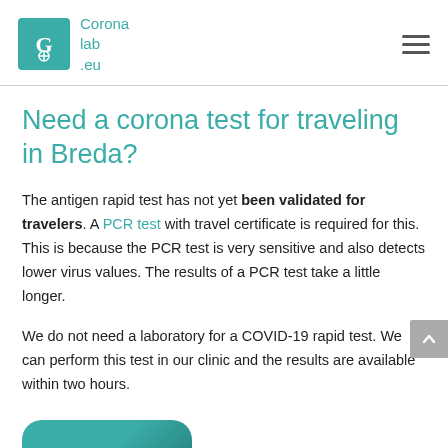Coronalab.eu
Need a corona test for traveling in Breda?
The antigen rapid test has not yet been validated for travelers. A PCR test with travel certificate is required for this. This is because the PCR test is very sensitive and also detects lower virus values. The results of a PCR test take a little longer.
We do not need a laboratory for a COVID-19 rapid test. We can perform this test in our clinic and the results are available within two hours.